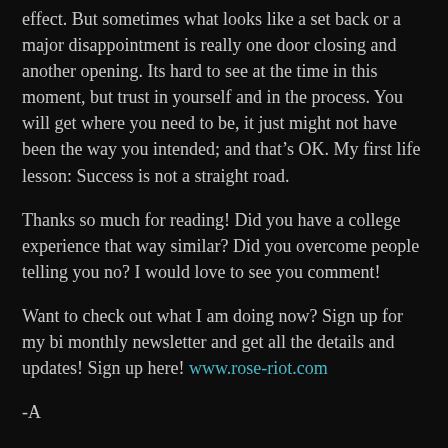effect. But sometimes what looks like a set back or a major disappointment is really one door closing and another opening. Its hard to see at the time in this moment, but trust in yourself and in the process. You will get where you need to be, it just might not have been the way you intended; and that’s OK. My first life lesson: Success is not a straight road.
Thanks so much for reading! Did you have a college experience that way similar? Did you overcome people telling you no? I would love to see you comment!
Want to check out what I am doing now? Sign up for my bi monthly newsletter and get all the details and updates! Sign up here! www.rose-riot.com
-A